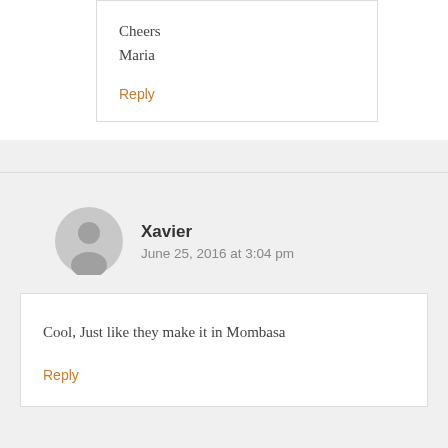Cheers
Maria
Reply
Xavier
June 25, 2016 at 3:04 pm
Cool, Just like they make it in Mombasa
Reply